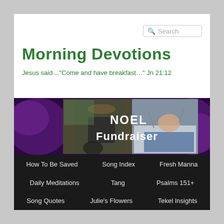Search
Morning Devotions
Jesus said…"Come and have breakfast…" Jn 21:12
[Figure (photo): Banner image with purple fabric background, photos of a person in a wheelchair and a person in a hospital bed, overlaid text reading NOEL Fundraiser]
How To Be Saved
Song Index
Fresh Manna
Daily Meditations
Tang
Psalms 151+
Song Quotes
Julie's Flowers
Tekel Insights